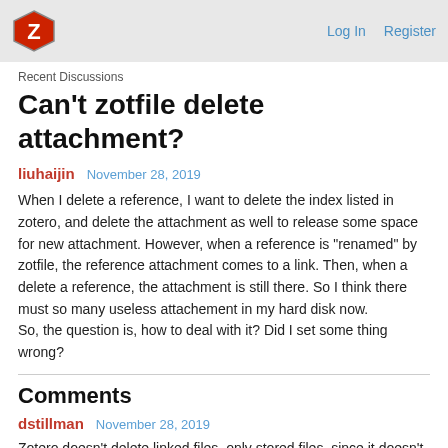Log In  Register
Recent Discussions
Can't zotfile delete attachment?
liuhaijin  November 28, 2019
When I delete a reference, I want to delete the index listed in zotero, and delete the attachment as well to release some space for new attachment. However, when a reference is "renamed" by zotfile, the reference attachment comes to a link. Then, when a delete a reference, the attachment is still there. So I think there must so many useless attachement in my hard disk now.
So, the question is, how to deal with it? Did I set some thing wrong?
Comments
dstillman  November 28, 2019
Zotero doesn't delete linked files, only stored files, since it doesn't have a way of knowing if you're using the files outside of Zotero after...